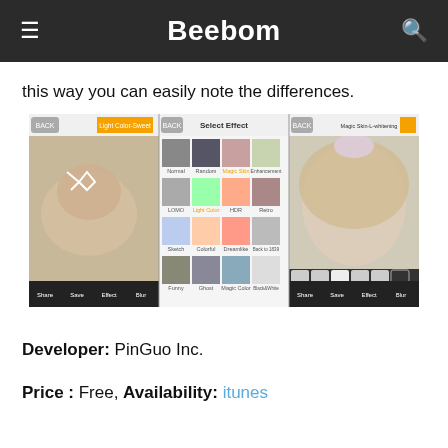Beebom
this way you can easily note the differences.
[Figure (screenshot): Screenshot of a photo editing app showing three phone screens side by side: left screen shows a fluffy dog with a bow filter, center screen shows a grid of photo effect options (Normal, Random, Magic Skin, Enhancement, LOMO, Light Color, HDR, Retro, Sketch, Colorful, Dreamlike, Back to 1839, Funny, Ghost, Magic Color, Black&White), right screen shows a girl with a hair bow with skin whitening filter applied. Navigation bars at top show 'Light Color-Sweet', 'Select Effect', 'Magic Skin-L-whitening'. Bottom bars show thumbnails and Share, Save, Effect, Blur buttons.]
Developer: PinGuo Inc.
Price : Free, Availability: itunes